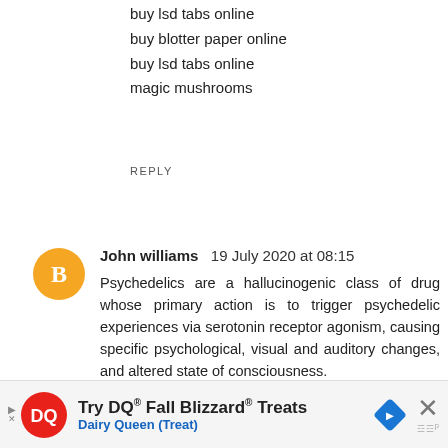buy lsd tabs online
buy blotter paper online
buy lsd tabs online
magic mushrooms
REPLY
John williams  19 July 2020 at 08:15
Psychedelics are a hallucinogenic class of drug whose primary action is to trigger psychedelic experiences via serotonin receptor agonism, causing specific psychological, visual and auditory changes, and altered state of consciousness.
Major psychedelic drugs include mescaline, LSD, psilocybin, and DMT.
buy ayahuasca
mdma crystal
what is mdma
buy mdma online
buy psychedelics online
[Figure (infographic): Dairy Queen advertisement banner: Try DQ Fall Blizzard Treats, Dairy Queen (Treat)]